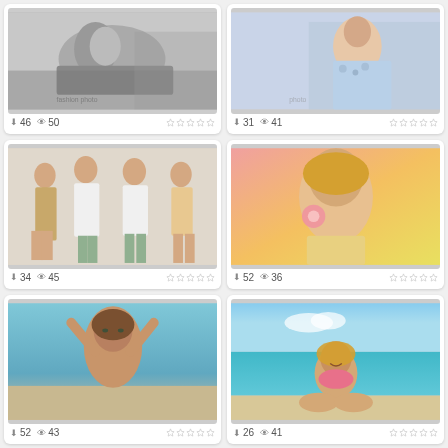[Figure (photo): Black and white fashion photo of a woman lying down in jeans]
46 downloads, 50 views, 0 stars
[Figure (photo): Woman in blue floral dress seated indoors]
31 downloads, 41 views, 0 stars
[Figure (photo): Group of four women posing in summer outfits]
34 downloads, 45 views, 0 stars
[Figure (photo): Woman with blonde hair holding a pink flower, colorful background]
52 downloads, 36 views, 0 stars
[Figure (photo): Woman with wet hair and arms raised, beach background]
52 downloads, 43 views, 0 stars
[Figure (photo): Blonde woman in pink bikini sitting on beach]
26 downloads, 41 views, 0 stars